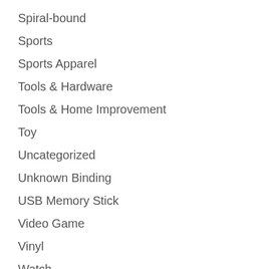Spiral-bound
Sports
Sports Apparel
Tools & Hardware
Tools & Home Improvement
Toy
Uncategorized
Unknown Binding
USB Memory Stick
Video Game
Vinyl
Watch